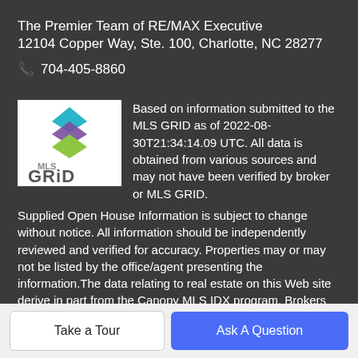The Premier Team of RE/MAX Executive
12104 Copper Way, Ste. 100, Charlotte, NC 28277
📞 704-405-8860
[Figure (logo): MLS GRID logo with colorful layered diamond shapes above text]
Based on information submitted to the MLS GRID as of 2022-08-30T21:34:14.09 UTC. All data is obtained from various sources and may not have been verified by broker or MLS GRID. Supplied Open House Information is subject to change without notice. All information should be independently reviewed and verified for accuracy. Properties may or may not be listed by the office/agent presenting the information.The data relating to real estate on this Web site derive in part from the Canopy MLS IDX program. Brokers make an effort to deliver accurate information, but buyers should independently verify any information on which
Take a Tour
Ask A Question